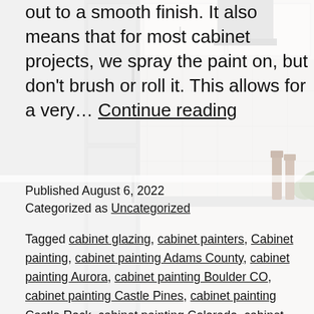[Figure (photo): Kitchen interior with white cabinets, marble backsplash, wine bottles and greenery on counter]
out to a smooth finish. It also means that for most cabinet projects, we spray the paint on, but don't brush or roll it. This allows for a very… Continue reading
Published August 6, 2022
Categorized as Uncategorized
Tagged cabinet glazing, cabinet painters, Cabinet painting, cabinet painting Adams County, cabinet painting Aurora, cabinet painting Boulder CO, cabinet painting Castle Pines, cabinet painting Castle Rock, cabinet painting Colorado, cabinet painting Colorado Springs, cabinet painting Douglas County, cabinet painting Fort Collins CO, cabinet painting Highlands Ranch, cabinet painting Highlands Ranch Co, cabinet painting Lakewood CO,